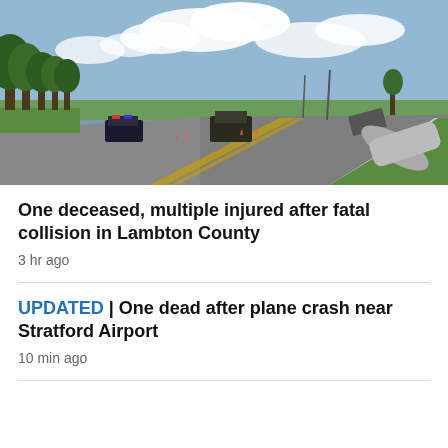[Figure (photo): A rural two-lane highway with police vehicles and an overturned tanker truck tipped into the ditch on the right side. Trees line the left side of the road, blue sky with clouds above.]
One deceased, multiple injured after fatal collision in Lambton County
3 hr ago
UPDATED | One dead after plane crash near Stratford Airport
10 min ago